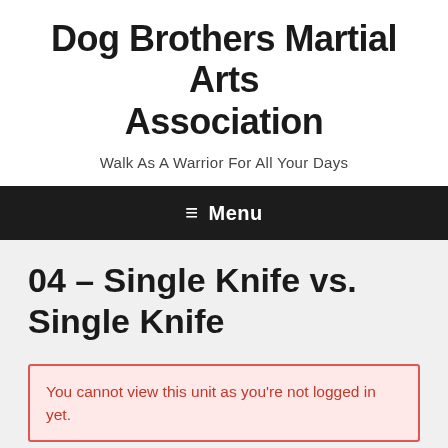Dog Brothers Martial Arts Association
Walk As A Warrior For All Your Days
≡ Menu
04 – Single Knife vs. Single Knife
You cannot view this unit as you're not logged in yet.